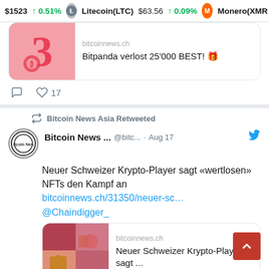1523 ↑0.51% Litecoin(LTC) $63.56 ↑0.09% Monero(XMR
[Figure (screenshot): Twitter/social media feed showing two tweet cards. First card (partial): bitcoinnews.ch - Bitpanda verlost 25'000 BEST! 🎁 with 17 likes. Second card: Bitcoin News Asia Retweeted - Bitcoin News ... @bitc... · Aug 17, Neuer Schweizer Krypto-Player sagt «wertlosen» NFTs den Kampf an, bitcoinnews.ch/31350/neuer-sc... @Chaindigger_, with a link preview card showing bitcoinnews.ch - Neuer Schweizer Krypto-Player sagt ...]